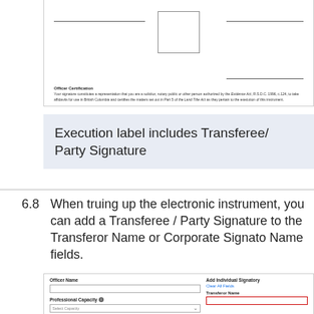[Figure (screenshot): Top portion of a land title form showing signature lines, a notary box, underline fields, and an Officer Certification text block.]
Execution label includes Transferee/ Party Signature
6.8   When truing up the electronic instrument, you can add a Transferee / Party Signature to the Transferor Name or Corporate Signatory Name fields.
[Figure (screenshot): Bottom portion of a form showing Officer Name field, Professional Capacity dropdown (Select Capacity), Add Individual Signatory section with Clear All Fields link, and Transferor Name field highlighted with a red border.]